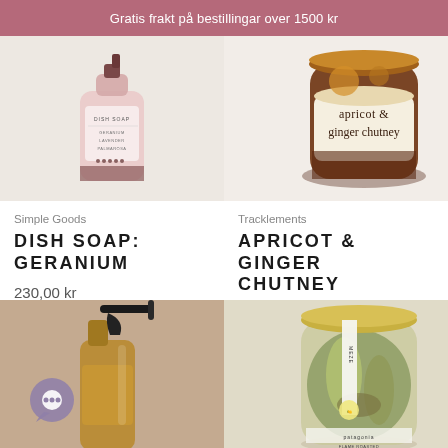Gratis frakt på bestillingar over 1500 kr
[Figure (photo): Pink bottle of dish soap labeled 'DISH SOAP' with geranium, lavender, palmarosa written on it]
Simple Goods
DISH SOAP: GERANIUM
230,00 kr
[Figure (photo): Glass jar of apricot & ginger chutney with illustrated label]
Tracklements
APRICOT & GINGER CHUTNEY
100,00 kr
[Figure (photo): Amber glass spray bottle with black sprayer nozzle on warm beige background, with a purple chat bubble icon overlay]
[Figure (photo): Glass jar from Meze/Patagonia brand containing flame roasted vegetables, with a distinctive label and golden lid]